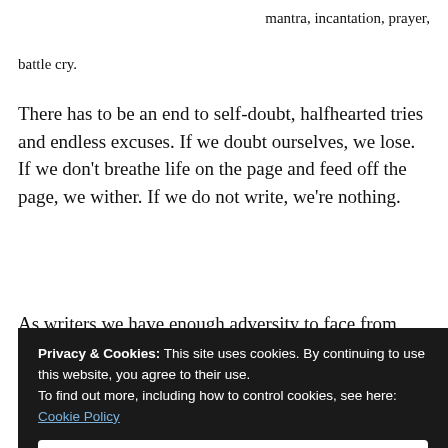mantra, incantation, prayer,
battle cry.
There has to be an end to self-doubt, halfhearted tries and endless excuses. If we doubt ourselves, we lose. If we don't breathe life on the page and feed off the page, we wither. If we do not write, we're nothing.
As writers we have enough adversity to face from other
Privacy & Cookies: This site uses cookies. By continuing to use this website, you agree to their use.
To find out more, including how to control cookies, see here:
Cookie Policy
Close and accept
more second-guesses. From now on there is only our